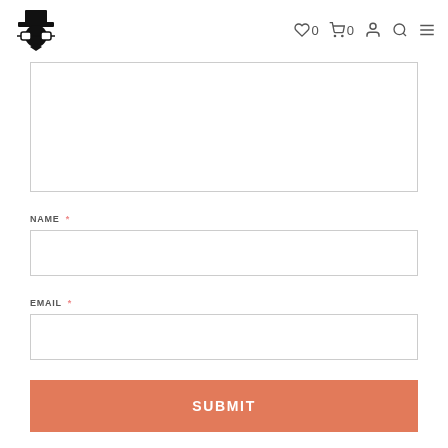Logo | ♡ 0  🛒 0  👤  🔍  ≡
[Figure (screenshot): Textarea input field, empty, with resize handle at bottom-right corner]
NAME *
[Figure (screenshot): Name text input field, empty]
EMAIL *
[Figure (screenshot): Email text input field, empty]
SUBMIT